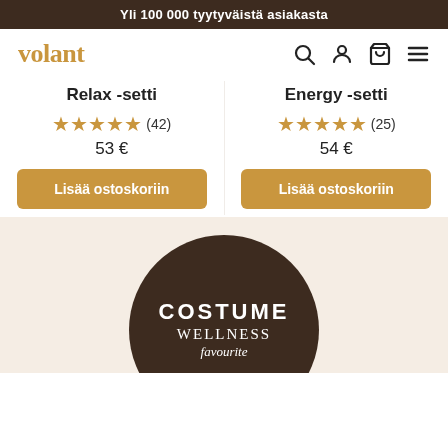Yli 100 000 tyytyväistä asiakasta
[Figure (screenshot): Volant e-commerce website navigation bar with logo 'volant' in gold, search icon, user icon, cart icon, and menu icon]
Relax -setti
★★★★★ (42)
53 €
Energy -setti
★★★★★ (25)
54 €
Lisää ostoskoriin
Lisää ostoskoriin
[Figure (logo): Dark brown circle badge with text COSTUME WELLNESS favourite (partially visible)]